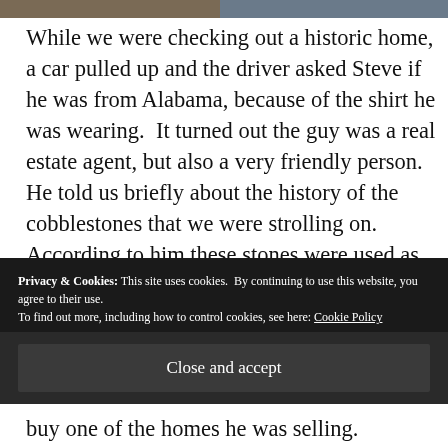[Figure (photo): Top strip showing partial images, left portion brownish/earthy tones and right portion bluish tones]
While we were checking out a historic home, a car pulled up and the driver asked Steve if he was from Alabama, because of the shirt he was wearing.  It turned out the guy was a real estate agent, but also a very friendly person.  He told us briefly about the history of the cobblestones that we were strolling on.  According to him these stones were used as ballast on ships that came into port clear back in 1670.  Before loading the ships with cotton they had
Privacy & Cookies: This site uses cookies.  By continuing to use this website, you agree to their use.
To find out more, including how to control cookies, see here: Cookie Policy
Close and accept
buy one of the homes he was selling.